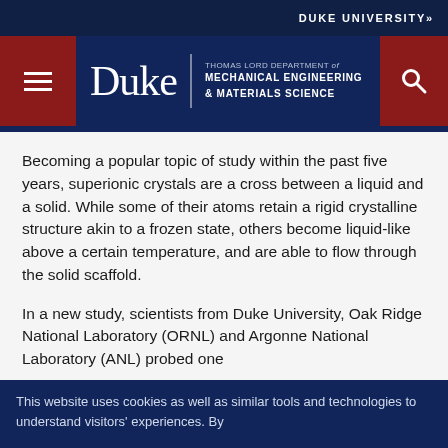DUKE UNIVERSITY»
[Figure (logo): Duke University Thomas Lord Department of Mechanical Engineering & Materials Science header with hamburger menu button on left, Duke wordmark and department name in center, search button on right, all on navy blue background]
Becoming a popular topic of study within the past five years, superionic crystals are a cross between a liquid and a solid. While some of their atoms retain a rigid crystalline structure akin to a frozen state, others become liquid-like above a certain temperature, and are able to flow through the solid scaffold.
In a new study, scientists from Duke University, Oak Ridge National Laboratory (ORNL) and Argonne National Laboratory (ANL) probed one
This website uses cookies as well as similar tools and technologies to understand visitors' experiences. By